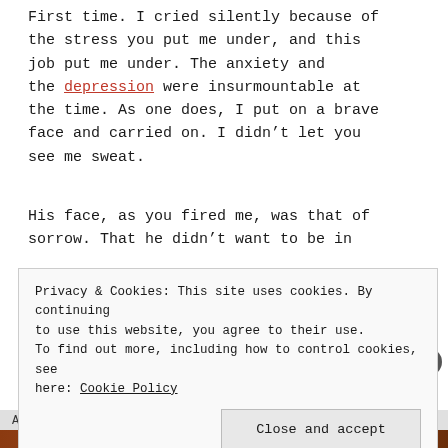First time. I cried silently because of the stress you put me under, and this job put me under. The anxiety and the depression were insurmountable at the time. As one does, I put on a brave face and carried on. I didn't let you see me sweat.
His face, as you fired me, was that of sorrow. That he didn't want to be in
Privacy & Cookies: This site uses cookies. By continuing to use this website, you agree to their use.
To find out more, including how to control cookies, see here: Cookie Policy
Close and accept
Advertisements